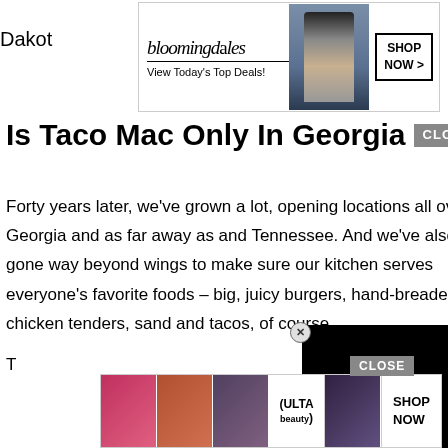[Figure (screenshot): Bloomingdale's banner ad with model wearing large hat. Text: bloomingdales, View Today's Top Deals!, SHOP NOW >]
Dakot
Is Taco Mac Only In Georgia CLOSE
Forty years later, we've grown a lot, opening locations all over Georgia and as far away as and Tennessee. And we've also gone way beyond wings to make sure our kitchen serves everyone's favorite foods – big, juicy burgers, hand-breaded chicken tenders, sand… and tacos, of course.
[Figure (screenshot): Black video player overlay with close button (X)]
Is Macaroni Good W…
Although not super exciting, very plain and bland foods can help ease symptoms. Try pasta, dry cereals, oatmeal, bread and crackers. But bland doesn't mean you can't add protei… r it!
[Figure (screenshot): Ulta Beauty bottom banner ad with makeup imagery. Text: CLOSE, SHOP NOW]
T…